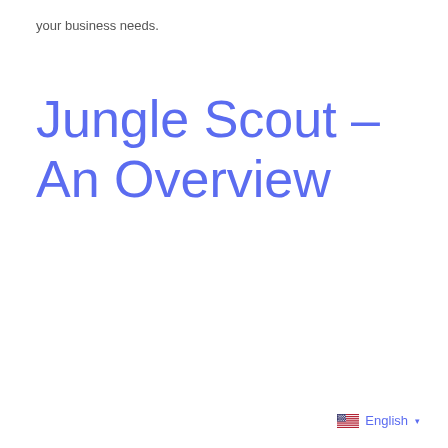your business needs.
Jungle Scout – An Overview
English ▾